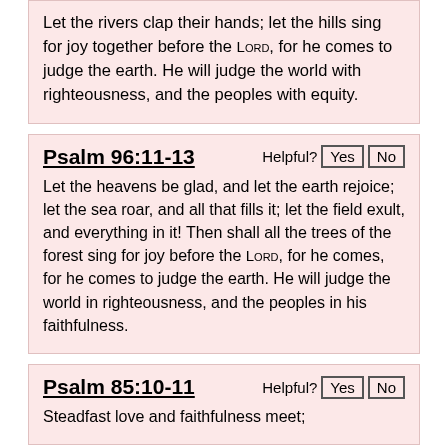Let the rivers clap their hands; let the hills sing for joy together before the LORD, for he comes to judge the earth. He will judge the world with righteousness, and the peoples with equity.
Psalm 96:11-13
Let the heavens be glad, and let the earth rejoice; let the sea roar, and all that fills it; let the field exult, and everything in it! Then shall all the trees of the forest sing for joy before the LORD, for he comes, for he comes to judge the earth. He will judge the world in righteousness, and the peoples in his faithfulness.
Psalm 85:10-11
Steadfast love and faithfulness meet;